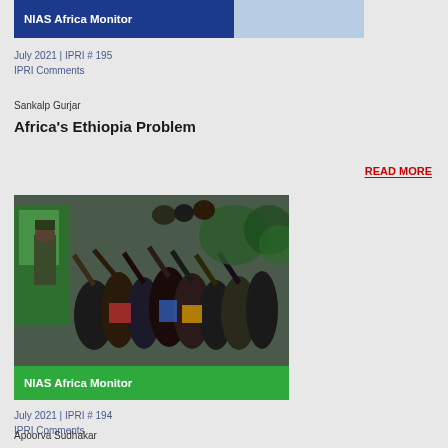NIAS Africa Monitor
July 2021 | IPRI # 195
IPRI Comments
Sankalp Gurjar
Africa's Ethiopia Problem
READ MORE
[Figure (photo): Crowd of people reaching up toward soldiers or officials on a vehicle, with green NIAS Africa Monitor banner overlay]
July 2021 | IPRI # 194
IPRI Comments
Apoorva Sudhakar